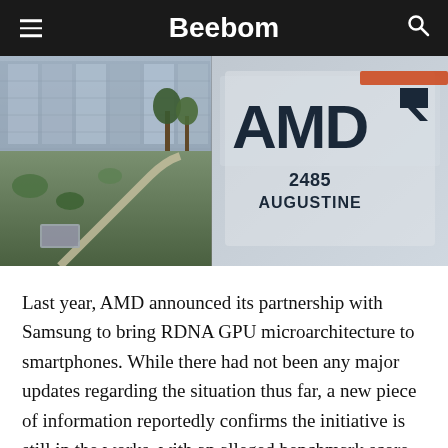Beebom
[Figure (photo): Composite photo: left side shows an AMD office building with glass facade and landscaped grounds; right side shows the AMD logo sign reading 'AMD' with the AMD arrow logo, and the address '2485 AUGUSTINE' below.]
Last year, AMD announced its partnership with Samsung to bring RDNA GPU microarchitecture to smartphones. While there had not been any major updates regarding the situation thus far, a new piece of information reportedly confirms the initiative is still in the works, with an alleged benchmark score of the